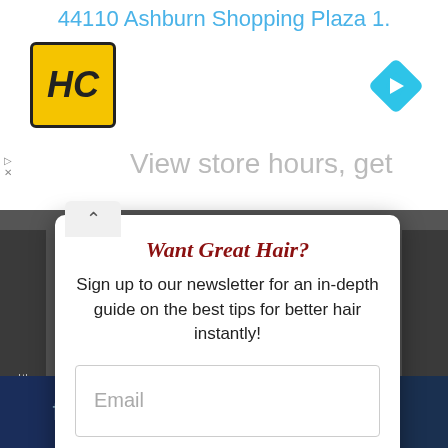44110 Ashburn Shopping Plaza 1.
[Figure (logo): HC logo in yellow square with black border]
[Figure (illustration): Blue diamond-shaped navigation arrow icon]
View store hours, get
Want Great Hair?
Sign up to our newsletter for an in-depth guide on the best tips for better hair instantly!
Email
SUBSCRIBE!
We promise not to spam you. You can unsubscribe at any time.
PREVIOUS ARTICLE
NEXT ARTICLE